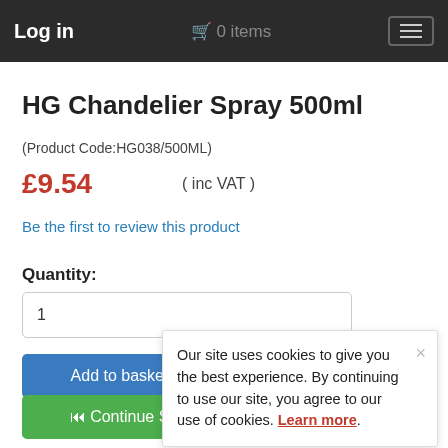Log in   🛒 0 items
HG Chandelier Spray 500ml
(Product Code:HG038/500ML)
£9.54   ( inc VAT )
Be the first to review this product
Quantity:
1
Add to basket
◄◄ Continue S
Our site uses cookies to give you the best experience. By continuing to use our site, you agree to our use of cookies. Learn more.